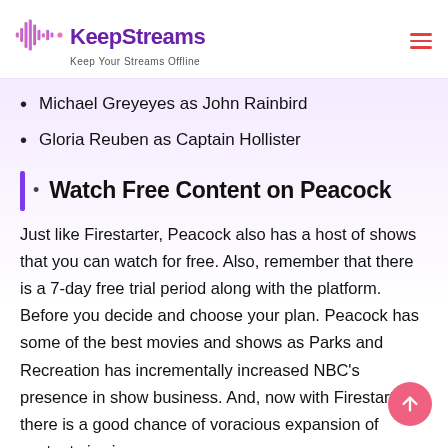KeepStreams — Keep Your Streams Offline
Michael Greyeyes as John Rainbird
Gloria Reuben as Captain Hollister
Watch Free Content on Peacock
Just like Firestarter, Peacock also has a host of shows that you can watch for free. Also, remember that there is a 7-day free trial period along with the platform. Before you decide and choose your plan. Peacock has some of the best movies and shows as Parks and Recreation has incrementally increased NBC's presence in show business. And, now with Firestarter, there is a good chance of voracious expansion of content viewing.